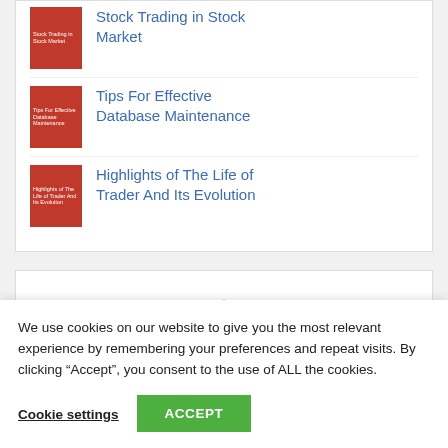Stock Trading in Stock Market
Tips For Effective Database Maintenance
Highlights of The Life of Trader And Its Evolution
-
We use cookies on our website to give you the most relevant experience by remembering your preferences and repeat visits. By clicking “Accept”, you consent to the use of ALL the cookies.
Cookie settings
ACCEPT